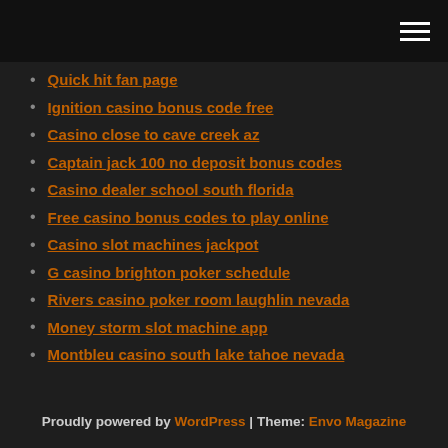[hamburger menu icon]
Quick hit fan page
Ignition casino bonus code free
Casino close to cave creek az
Captain jack 100 no deposit bonus codes
Casino dealer school south florida
Free casino bonus codes to play online
Casino slot machines jackpot
G casino brighton poker schedule
Rivers casino poker room laughlin nevada
Money storm slot machine app
Montbleu casino south lake tahoe nevada
Proudly powered by WordPress | Theme: Envo Magazine